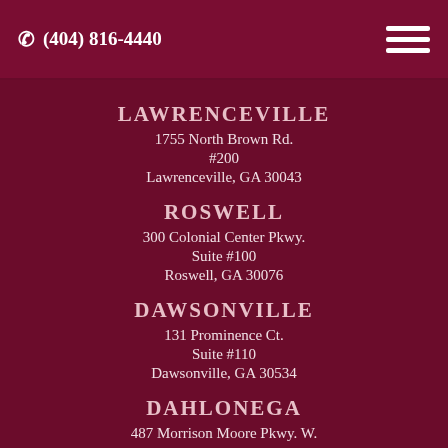(404) 816-4440
LAWRENCEVILLE
1755 North Brown Rd.
#200
Lawrenceville, GA 30043
ROSWELL
300 Colonial Center Pkwy.
Suite #100
Roswell, GA 30076
DAWSONVILLE
131 Prominence Ct.
Suite #110
Dawsonville, GA 30534
DAHLONEGA
487 Morrison Moore Pkwy. W.